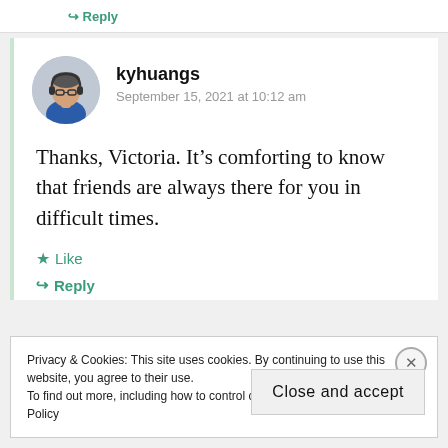Reply
kyhuangs
September 15, 2021 at 10:12 am
Thanks, Victoria. It’s comforting to know that friends are always there for you in difficult times.
★ Like
↪ Reply
Privacy & Cookies: This site uses cookies. By continuing to use this website, you agree to their use.
To find out more, including how to control cookies, see here: Cookie Policy
Close and accept